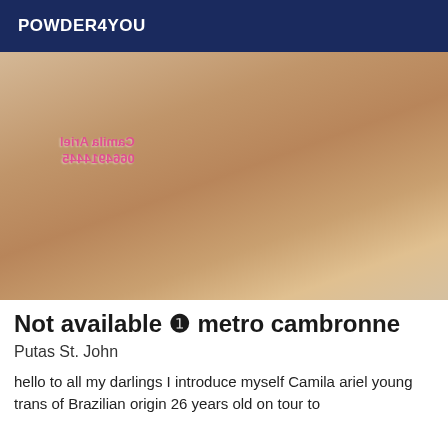POWDER4YOU
[Figure (photo): Photo of a person wearing white lingerie and stockings, with a mirrored watermark text 'Camila Ariel' and '0664914445']
Not available ❶ metro cambronne
Putas St. John
hello to all my darlings I introduce myself Camila ariel young trans of Brazilian origin 26 years old on tour to